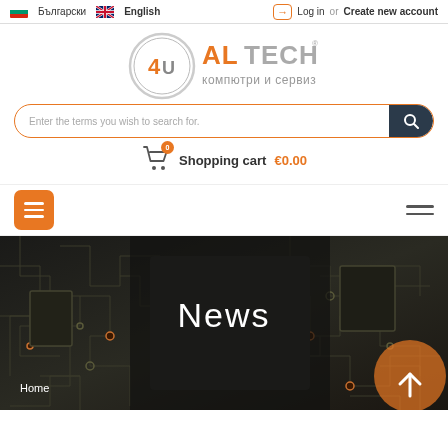Български | English | Log in or Create new account
[Figure (logo): 4U Altech logo with circular emblem and text 'ALTECH компютри и сервиз']
[Figure (screenshot): Search bar with placeholder 'Enter the terms you wish to search for.' and dark search button]
Shopping cart €0.00
[Figure (screenshot): Navigation bar with orange hamburger menu button on left and gray hamburger menu on right]
[Figure (photo): Hero banner showing electronics/circuit board background with 'News' title text and 'Home' breadcrumb]